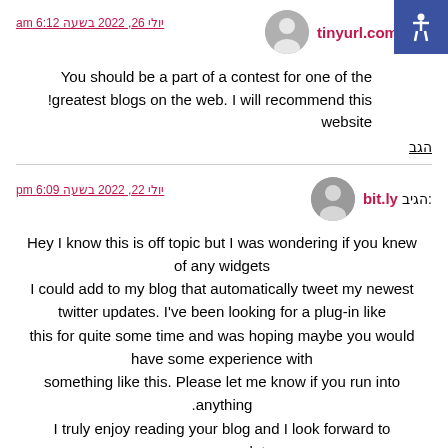הגיב: tinyurl.com
יולי 26, 2022 בשעה 6:12 am
You should be a part of a contest for one of the greatest blogs on the web. I will recommend this website!
הגב
הגיב: bit.ly
יולי 22, 2022 בשעה 6:09 pm
Hey I know this is off topic but I was wondering if you knew of any widgets I could add to my blog that automatically tweet my newest twitter updates. I've been looking for a plug-in like this for quite some time and was hoping maybe you would have some experience with something like this. Please let me know if you run into anything. I truly enjoy reading your blog and I look forward to your new updates.